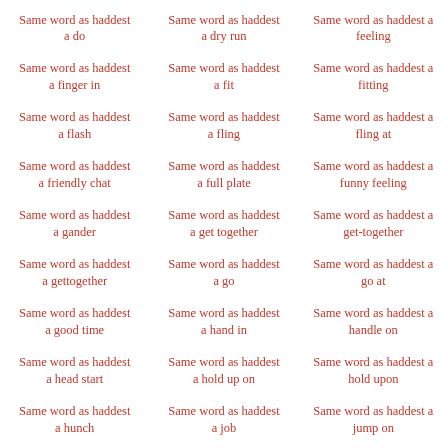Same word as haddest a do
Same word as haddest a dry run
Same word as haddest a feeling
Same word as haddest a finger in
Same word as haddest a fit
Same word as haddest a fitting
Same word as haddest a flash
Same word as haddest a fling
Same word as haddest a fling at
Same word as haddest a friendly chat
Same word as haddest a full plate
Same word as haddest a funny feeling
Same word as haddest a gander
Same word as haddest a get together
Same word as haddest a get-together
Same word as haddest a gettogether
Same word as haddest a go
Same word as haddest a go at
Same word as haddest a good time
Same word as haddest a hand in
Same word as haddest a handle on
Same word as haddest a head start
Same word as haddest a hold up on
Same word as haddest a hold upon
Same word as haddest a hunch
Same word as haddest a job
Same word as haddest a jump on